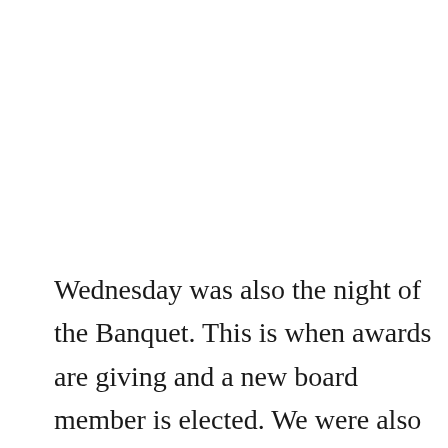Wednesday was also the night of the Banquet. This is when awards are giving and a new board member is elected. We were also given a preview of the next year's conference, which I am already looking forward to